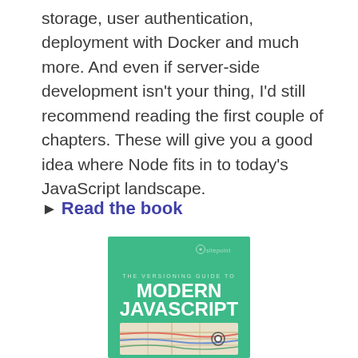storage, user authentication, deployment with Docker and much more. And even if server-side development isn't your thing, I'd still recommend reading the first couple of chapters. These will give you a good idea where Node fits in to today's JavaScript landscape.
▶ Read the book
[Figure (illustration): Book cover: 'The Versioning Guide to Modern JavaScript' by SitePoint, green background with a map illustration at the bottom.]